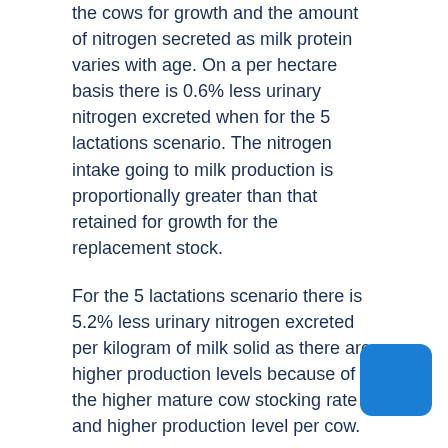the cows for growth and the amount of nitrogen secreted as milk protein varies with age. On a per hectare basis there is 0.6% less urinary nitrogen excreted when for the 5 lactations scenario. The nitrogen intake going to milk production is proportionally greater than that retained for growth for the replacement stock.
For the 5 lactations scenario there is 5.2% less urinary nitrogen excreted per kilogram of milk solid as there are higher production levels because of the higher mature cow stocking rate and higher production level per cow.
Additional considerations
1. To ensure the rate of genetic gain is not